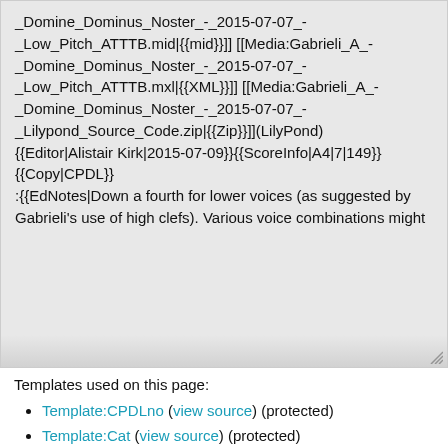_Domine_Dominus_Noster_-_2015-07-07_-_Low_Pitch_ATTTB.mid|{{mid}}]] [[Media:Gabrieli_A_-_Domine_Dominus_Noster_-_2015-07-07_-_Low_Pitch_ATTTB.mxl|{{XML}}]] [[Media:Gabrieli_A_-_Domine_Dominus_Noster_-_2015-07-07_-_Lilypond_Source_Code.zip|{{Zip}}]](LilyPond) {{Editor|Alistair Kirk|2015-07-09}}{{ScoreInfo|A4|7|149}} {{Copy|CPDL}} :{{EdNotes|Down a fourth for lower voices (as suggested by Gabrieli's use of high clefs). Various voice combinations might
Templates used on this page:
Template:CPDLno (view source) (protected)
Template:Cat (view source) (protected)
Template:CompFromWorkTitle (view source)
Template:Composer (view source) (protected)
Template:Copy (view source) (protected)
Template:Doser (view source) (protected)